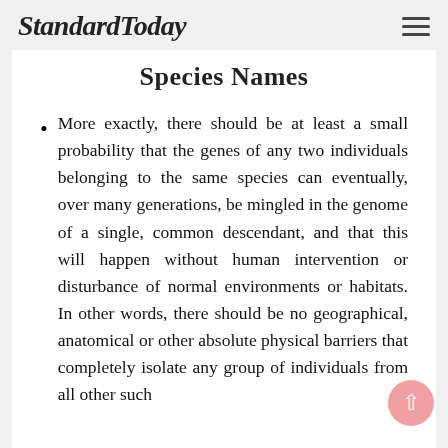StandardToday
Species Names
More exactly, there should be at least a small probability that the genes of any two individuals belonging to the same species can eventually, over many generations, be mingled in the genome of a single, common descendant, and that this will happen without human intervention or disturbance of normal environments or habitats. In other words, there should be no geographical, anatomical or other absolute physical barriers that completely isolate any group of individuals from all other such